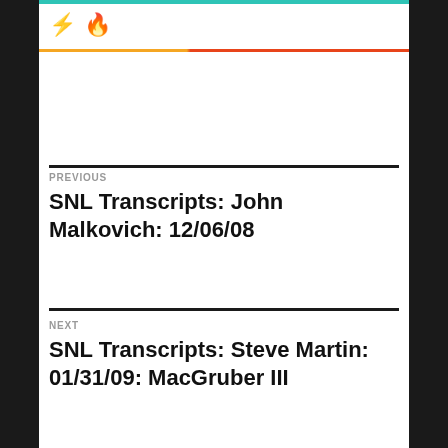⚡ 🔥
PREVIOUS
SNL Transcripts: John Malkovich: 12/06/08
NEXT
SNL Transcripts: Steve Martin: 01/31/09: MacGruber III